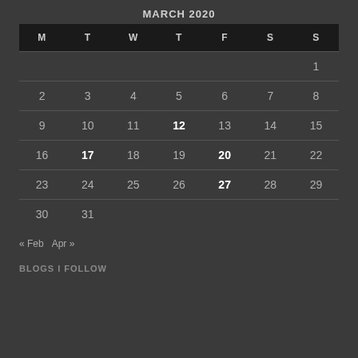MARCH 2020
| M | T | W | T | F | S | S |
| --- | --- | --- | --- | --- | --- | --- |
|  |  |  |  |  |  | 1 |
| 2 | 3 | 4 | 5 | 6 | 7 | 8 |
| 9 | 10 | 11 | 12 | 13 | 14 | 15 |
| 16 | 17 | 18 | 19 | 20 | 21 | 22 |
| 23 | 24 | 25 | 26 | 27 | 28 | 29 |
| 30 | 31 |  |  |  |  |  |
« Feb   Apr »
BLOGS I FOLLOW